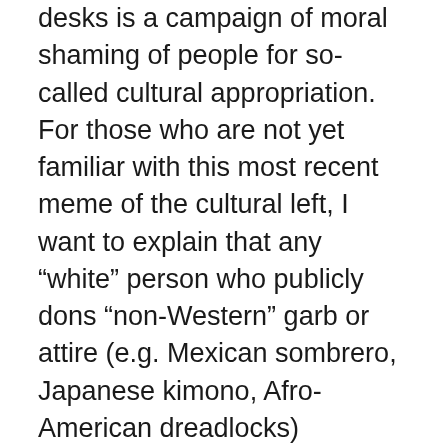desks is a campaign of moral shaming of people for so-called cultural appropriation. For those who are not yet familiar with this most recent meme of the cultural left, I want to explain that any “white” person who publicly dons “non-Western” garb or attire (e.g. Mexican sombrero, Japanese kimono, Afro-American dreadlocks) automatically becomes a racist “colonizer” who “steals” and “appropriates” from the victims of “color.”
The third component of the multicultural “diversity” ideological machine is represented by various identity studies departments such as Black, Hispanic, Native American, and Women Studies